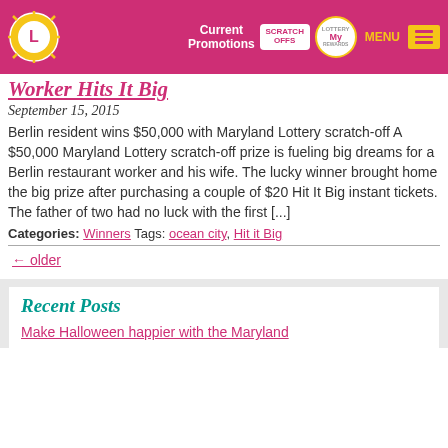Current Promotions | SCRATCH OFFS | MY REWARDS | MENU
Worker Hits It Big
September 15, 2015
Berlin resident wins $50,000 with Maryland Lottery scratch-off A $50,000 Maryland Lottery scratch-off prize is fueling big dreams for a Berlin restaurant worker and his wife. The lucky winner brought home the big prize after purchasing a couple of $20 Hit It Big instant tickets. The father of two had no luck with the first [...]
Categories: Winners Tags: ocean city, Hit it Big
← older
Recent Posts
Make Halloween happier with the Maryland